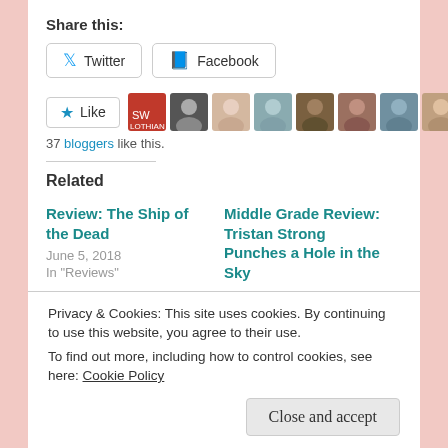Share this:
Twitter
Facebook
[Figure (other): Like button with star icon and a row of 9 blogger avatar thumbnails]
37 bloggers like this.
Related
Review: The Ship of the Dead
June 5, 2018
In "Reviews"
Middle Grade Review: Tristan Strong Punches a Hole in the Sky
Privacy & Cookies: This site uses cookies. By continuing to use this website, you agree to their use.
To find out more, including how to control cookies, see here: Cookie Policy
In "Blog"